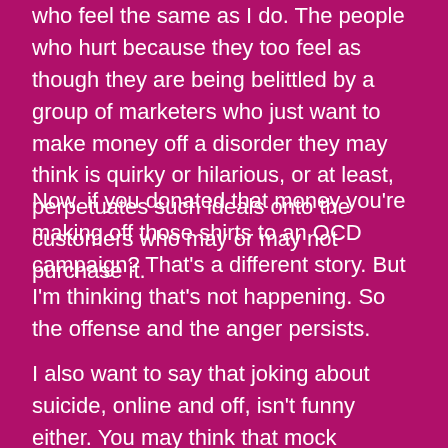who feel the same as I do. The people who hurt because they too feel as though they are being belittled by a group of marketers who just want to make money off a disorder they may think is quirky or hilarious, or at least, perpetuates such ideals onto the customers who may or may not purchase it.
Now, if you donated that money you're making off those shirts to an OCD campaign? That's a different story. But I'm thinking that's not happening. So the offense and the anger persists.
I also want to say that joking about suicide, online and off, isn't funny either. You may think that mock shooting yourself in the head is funny, well, it's not.